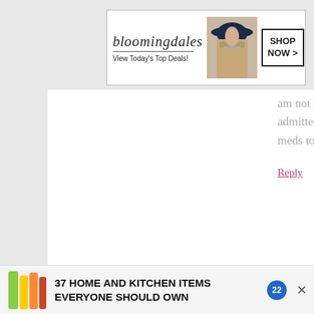[Figure (other): Bloomingdales advertisement banner with text 'bloomingdales', 'View Today's Top Deals!', a woman wearing a hat, and a 'SHOP NOW >' button]
am not sure but I think she admitted to being on other Rx meds too.
Reply
tamaratattles says September 29, 2019 at 10:26 pm
Ah, Jenice is new clearly hasn't bothered to take the temperature of the roo
[Figure (other): Bottom advertisement: '37 HOME AND KITCHEN ITEMS EVERYONE SHOULD OWN' with colorful bag image and close button]